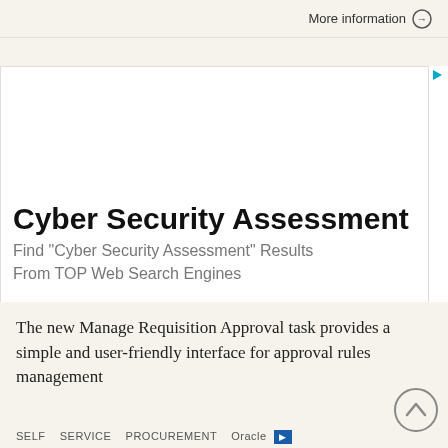More information →
[Figure (screenshot): Advertisement box for Cyber Security Assessment with bold title and subtitle text]
The new Manage Requisition Approval task provides a simple and user-friendly interface for approval rules management
SELF   SERVICE   PROCUREMENT   Oracle